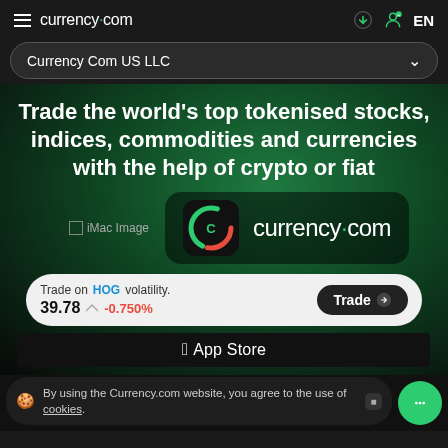currency.com  EN
Currency Com US LLC
Trade the world's top tokenised stocks, indices, commodities and currencies with the help of crypto or fiat
[Figure (logo): iMac Image placeholder and currency.com app icon with logo]
Trade on HOG volatility. 39.78  -0.750%  Trade
[Figure (screenshot): App Store banner]
By using the Currency.com website, you agree to the use of cookies.